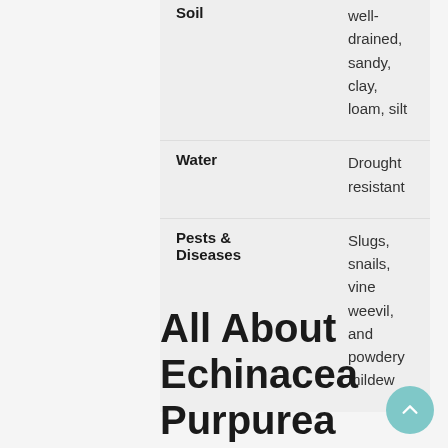| Category | Value |
| --- | --- |
| Soil | Well-drained, sandy, clay, loam, silt |
| Water | Drought resistant |
| Pests & Diseases | Slugs, snails, vine weevil, and powdery mildew |
All About Echinacea Purpurea